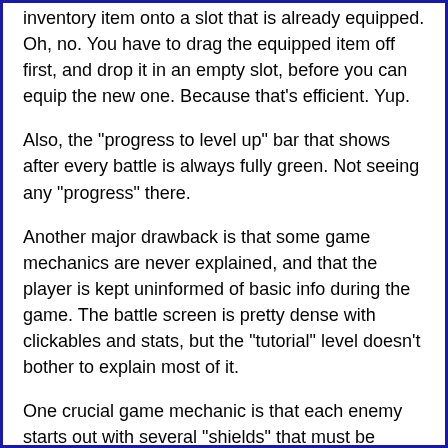inventory item onto a slot that is already equipped. Oh, no. You have to drag the equipped item off first, and drop it in an empty slot, before you can equip the new one. Because that's efficient. Yup.
Also, the "progress to level up" bar that shows after every battle is always fully green. Not seeing any "progress" there.
Another major drawback is that some game mechanics are never explained, and that the player is kept uninformed of basic info during the game. The battle screen is pretty dense with clickables and stats, but the "tutorial" level doesn't bother to explain most of it.
One crucial game mechanic is that each enemy starts out with several "shields" that must be destroyed before it takes damage directly. Each shield is weak to a certain attack type, indicated by the color of the little bar icon above the enemy's health bar (also color-coded). This information was never told to fall...